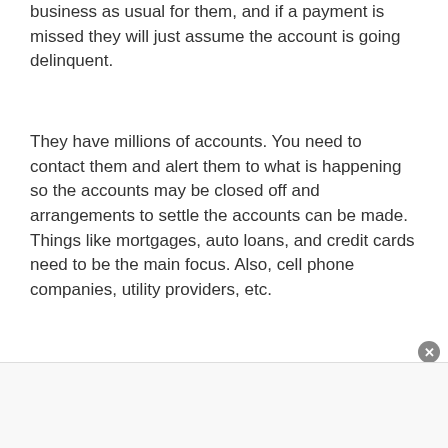business as usual for them, and if a payment is missed they will just assume the account is going delinquent.
They have millions of accounts. You need to contact them and alert them to what is happening so the accounts may be closed off and arrangements to settle the accounts can be made. Things like mortgages, auto loans, and credit cards need to be the main focus. Also, cell phone companies, utility providers, etc.
Determine What to Do with the Estate